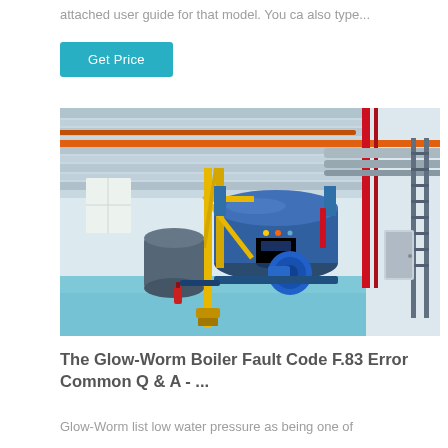attached user guide for that model. You ca also type...
Get Price
[Figure (photo): Industrial boiler room with large blue cylindrical boilers, yellow support structures, orange and red pipes running along the ceiling, and blue epoxy floor. Wide-angle interior shot showing multiple boiler units and piping infrastructure.]
The Glow-Worm Boiler Fault Code F.83 Error Common Q & A - ...
Glow-Worm list low water pressure as being one of